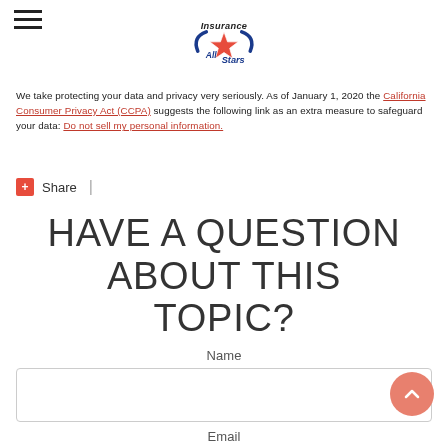[Figure (logo): Insurance All Stars logo with star graphic and swoosh]
We take protecting your data and privacy very seriously. As of January 1, 2020 the California Consumer Privacy Act (CCPA) suggests the following link as an extra measure to safeguard your data: Do not sell my personal information.
+ Share |
HAVE A QUESTION ABOUT THIS TOPIC?
Name
Email